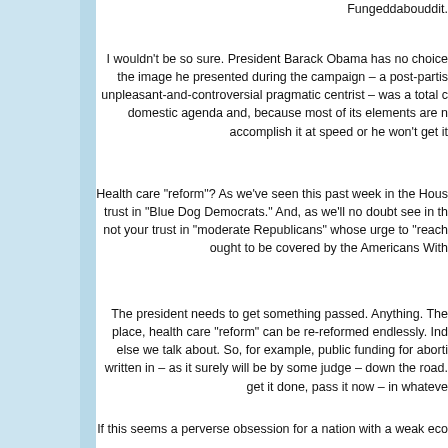Fungeddabouddit.
I wouldn't be so sure. President Barack Obama has no choice the image he presented during the campaign – a post-partis unpleasant-and-controversial pragmatic centrist – was a total c domestic agenda and, because most of its elements are n accomplish it at speed or he won't get it
Health care "reform"? As we've seen this past week in the Hous trust in "Blue Dog Democrats." And, as we'll no doubt see in th not your trust in "moderate Republicans" whose urge to "reach ought to be covered by the Americans With
The president needs to get something passed. Anything. The place, health care "reform" can be re-reformed endlessly. Ind else we talk about. So, for example, public funding for aborti written in – as it surely will be by some judge – down the road. get it done, pass it now – in whateve
If this seems a perverse obsession for a nation with a weak eco war on two fronts, it has a very sound strategic logic behind it week or two back, health care is the fastest way to a permane That's its attraction for an ambitious president: It redefines the and the state in a way that hands all the advantages to st government has a legitimate right to regulate human a